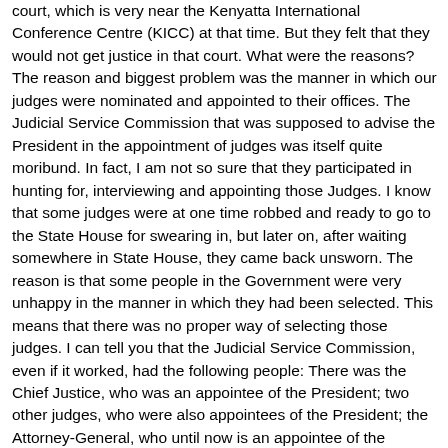court, which is very near the Kenyatta International Conference Centre (KICC) at that time. But they felt that they would not get justice in that court. What were the reasons? The reason and biggest problem was the manner in which our judges were nominated and appointed to their offices. The Judicial Service Commission that was supposed to advise the President in the appointment of judges was itself quite moribund. In fact, I am not so sure that they participated in hunting for, interviewing and appointing those Judges. I know that some judges were at one time robbed and ready to go to the State House for swearing in, but later on, after waiting somewhere in State House, they came back unsworn. The reason is that some people in the Government were very unhappy in the manner in which they had been selected. This means that there was no proper way of selecting those judges. I can tell you that the Judicial Service Commission, even if it worked, had the following people: There was the Chief Justice, who was an appointee of the President; two other judges, who were also appointees of the President; the Attorney-General, who until now is an appointee of the President and the Chairman of the Public Service Commission, who was also an appointee of the President. So, actually, it was a Presidential Commission and consequently, it did what the